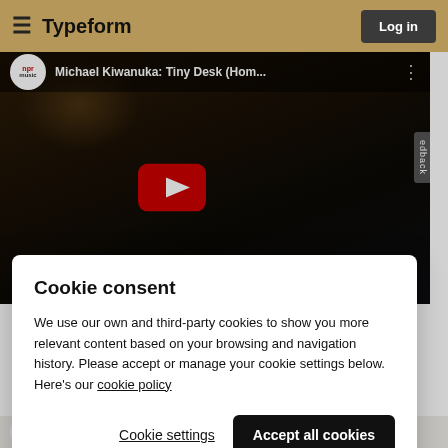≡  Typeform    Log in
[Figure (screenshot): YouTube video thumbnail showing Michael Kiwanuka: Tiny Desk (Hom... with NPR music logo and play button overlay]
Cookie consent
We use our own and third-party cookies to show you more relevant content based on your browsing and navigation history. Please accept or manage your cookie settings below. Here's our cookie policy
Cookie settings    Accept all cookies
13 people like this